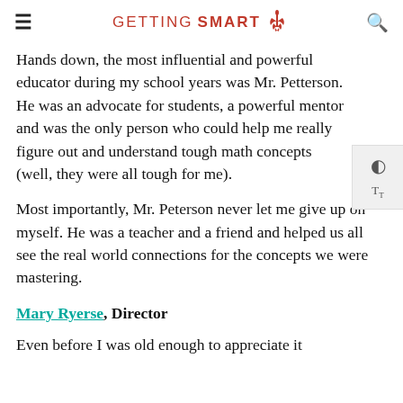GETTING SMART
Hands down, the most influential and powerful educator during my school years was Mr. Petterson. He was an advocate for students, a powerful mentor and was the only person who could help me really figure out and understand tough math concepts (well, they were all tough for me).
Most importantly, Mr. Peterson never let me give up on myself. He was a teacher and a friend and helped us all see the real world connections for the concepts we were mastering.
Mary Ryerse, Director
Even before I was old enough to appreciate it